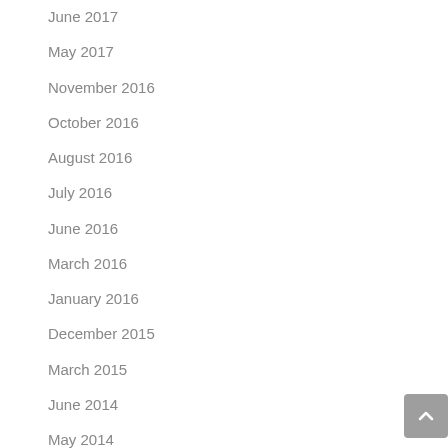June 2017
May 2017
November 2016
October 2016
August 2016
July 2016
June 2016
March 2016
January 2016
December 2015
March 2015
June 2014
May 2014